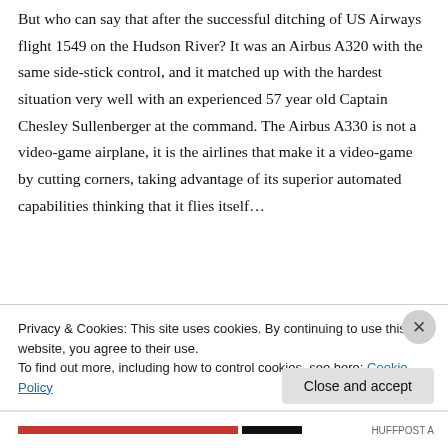But who can say that after the successful ditching of US Airways flight 1549 on the Hudson River? It was an Airbus A320 with the same side-stick control, and it matched up with the hardest situation very well with an experienced 57 year old Captain Chesley Sullenberger at the command. The Airbus A330 is not a video-game airplane, it is the airlines that make it a video-game by cutting corners, taking advantage of its superior automated capabilities thinking that it flies itself…
Privacy & Cookies: This site uses cookies. By continuing to use this website, you agree to their use.
To find out more, including how to control cookies, see here: Cookie Policy
Close and accept